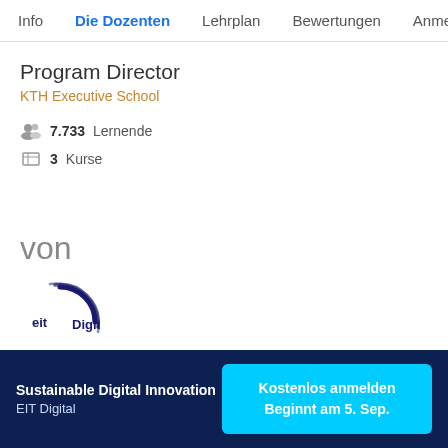Info   Die Dozenten   Lehrplan   Bewertungen   Anmelde
Program Director
KTH Executive School
7.733 Lernende
3 Kurse
von
[Figure (logo): EIT Digital logo (circular arc with eit text), partially visible at bottom]
Sustainable Digital Innovation
EIT Digital
Kostenlos anmelden
Beginnt am 5. Sep.